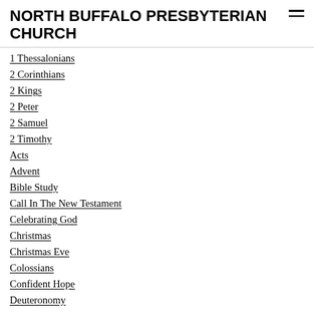NORTH BUFFALO PRESBYTERIAN CHURCH
1 Thessalonians
2 Corinthians
2 Kings
2 Peter
2 Samuel
2 Timothy
Acts
Advent
Bible Study
Call In The New Testament
Celebrating God
Christmas
Christmas Eve
Colossians
Confident Hope
Deuteronomy